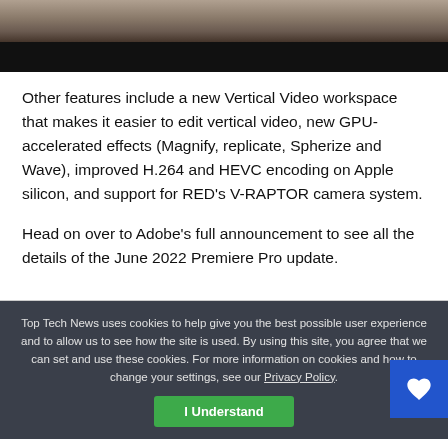[Figure (photo): Cropped photo showing hands on a laptop keyboard, dark background at bottom]
Other features include a new Vertical Video workspace that makes it easier to edit vertical video, new GPU-accelerated effects (Magnify, replicate, Spherize and Wave), improved H.264 and HEVC encoding on Apple silicon, and support for RED's V-RAPTOR camera system.
Head on over to Adobe's full announcement to see all the details of the June 2022 Premiere Pro update.
Top Tech News uses cookies to help give you the best possible user experience and to allow us to see how the site is used. By using this site, you agree that we can set and use these cookies. For more information on cookies and how to change your settings, see our Privacy Policy.